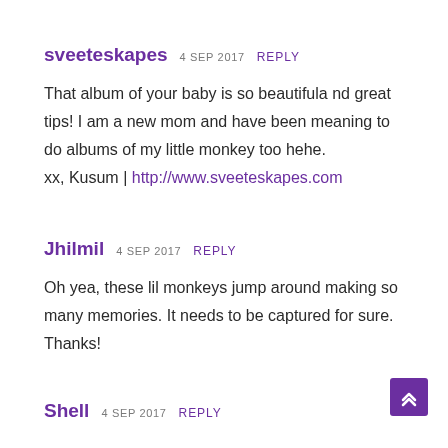sveeteskapes  4 SEP 2017  REPLY
That album of your baby is so beautifula nd great tips! I am a new mom and have been meaning to do albums of my little monkey too hehe.
xx, Kusum | http://www.sveeteskapes.com
Jhilmil  4 SEP 2017  REPLY
Oh yea, these lil monkeys jump around making so many memories. It needs to be captured for sure. Thanks!
Shell  4 SEP 2017  REPLY